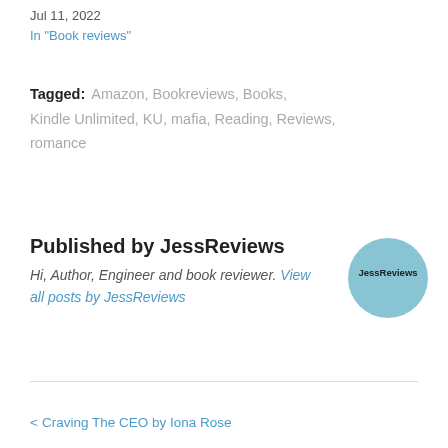Jul 11, 2022
In "Book reviews"
Tagged: Amazon, Bookreviews, Books, Kindle Unlimited, KU, mafia, Reading, Reviews, romance
Published by JessReviews
Hi, Author, Engineer and book reviewer. View all posts by JessReviews
[Figure (illustration): Circular avatar with light blue background and text 'JessReviews']
< Craving The CEO by Iona Rose